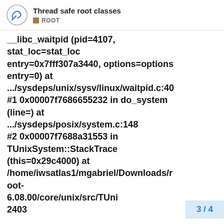Thread safe root classes ROOT
__libc_waitpid (pid=4107, stat_loc=stat_loc entry=0x7fff307a3440, options=options entry=0) at .../sysdeps/unix/sysv/linux/waitpid.c:40 #1 0x00007f7686655232 in do_system (line=) at .../sysdeps/posix/system.c:148 #2 0x00007f7688a31553 in TUnixSystem::StackTrace (this=0x29c4000) at /home/iwsatlas1/mgabriel/Downloads/root-6.08.00/core/unix/src/TUni 2403
3 / 4